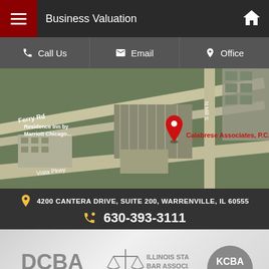Business Valuation
Call Us | Email | Office
[Figure (map): Aerial/satellite map showing location of Calabrese Associates P.C. at 4200 Cantera Drive, Suite 200, Warrenville IL, with red map pin marker. Shows Ferry Rd, Vista Pkwy, Residence Inn by Marriott Chicago nearby.]
4200 CANTERA DRIVE, SUITE 200, WARRENVILLE, IL 60555
630-393-3111
[Figure (logo): DCBA - DuPage County Bar Association Lawyer Referral Service logo]
[Figure (logo): Illinois State Bar Association logo]
[Figure (logo): KCBA logo]